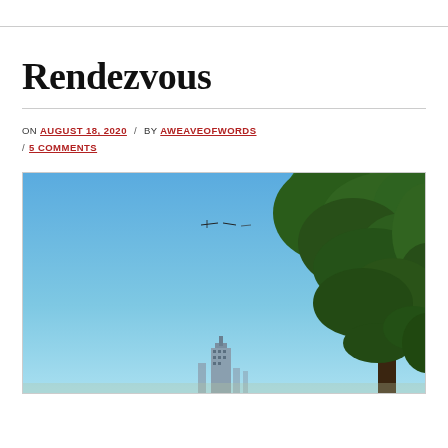Rendezvous
ON AUGUST 18, 2020 / BY AWEAVEOFWORDS / 5 COMMENTS
[Figure (photo): Outdoor photograph showing a clear blue sky with a tree with green foliage on the right side and a distant city skyline (tall building visible) in the lower center. A small aircraft or bird is visible in the upper middle of the sky.]